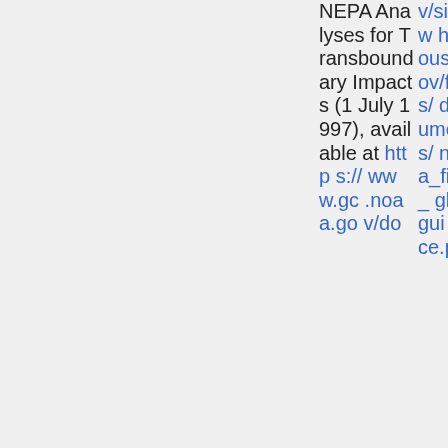NEPA Analyses for Transboundary Impacts (1 July 1997), available at https://www.gc.noaa.gov/do
v/sites/whitehouse.gov/files/documents/nepa_final_ghg_guidance.p